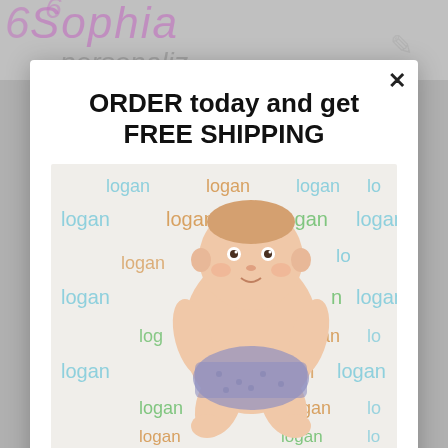[Figure (photo): Background showing partial view of a children's name personalization product page with 'Sophia' text visible in colorful letters]
ORDER today and get FREE SHIPPING
[Figure (photo): Baby lying on a white blanket with the name 'logan' repeated in multiple colors (blue, green, orange) as a pattern across the blanket]
Signup today for free and be the first to get notified on new promotions, products, giveaways and more.